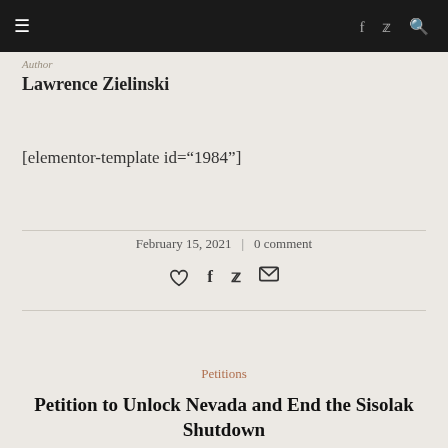☰  f  ✓  🔍
Author
Lawrence Zielinski
[elementor-template id="1984"]
February 15, 2021  |  0 comment
♡  f  ✓  ✉
Petitions
Petition to Unlock Nevada and End the Sisolak Shutdown